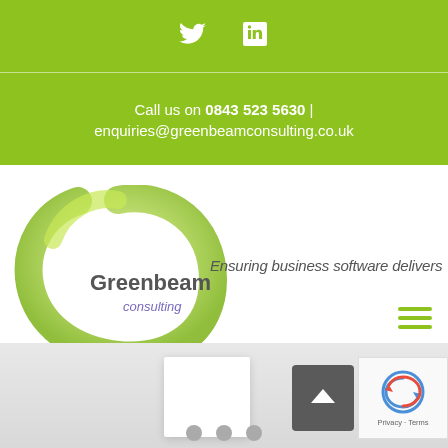[Figure (logo): Twitter and LinkedIn social media icons in white on green background]
Call us on 0843 523 5630  |  enquiries@greenbeamconsulting.co.uk
[Figure (logo): Greenbeam Consulting logo with green circular swirl and tagline 'Ensuring business software delivers']
[Figure (other): Bottom section with white slide card, up-arrow navigation button, slider dots, and reCAPTCHA widget with Privacy and Terms links]